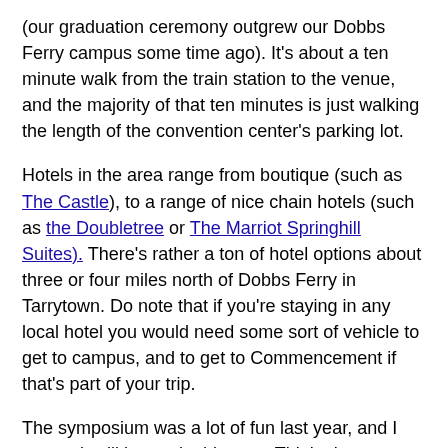(our graduation ceremony outgrew our Dobbs Ferry campus some time ago). It's about a ten minute walk from the train station to the venue, and the majority of that ten minutes is just walking the length of the convention center's parking lot.
Hotels in the area range from boutique (such as The Castle), to a range of nice chain hotels (such as the Doubletree or The Marriot Springhill Suites). There's rather a ton of hotel options about three or four miles north of Dobbs Ferry in Tarrytown. Do note that if you're staying in any local hotel you would need some sort of vehicle to get to campus, and to get to Commencement if that's part of your trip.
The symposium was a lot of fun last year, and I expect it will be again this year. Think about coming. I've already heard from several of you who definitely want to read a paper, and that's great. I hope to hear from more at cloots@mercy.edu.